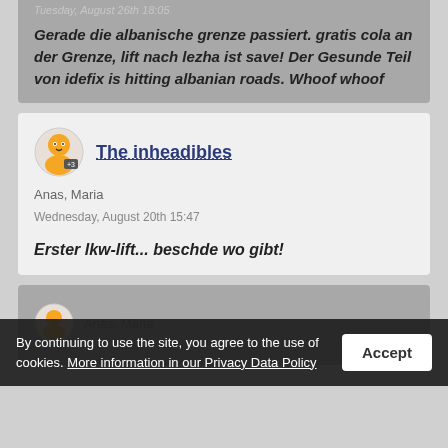Tuesday, August 26th 18:05
Gerade die albanische grenze passiert. gratis cola an der Grenze, lift nach lezha ist save! Der Gesunde Teil von idefix is hitting albanian roads. Whoof whoof
The inheadibles
Anas, Maria
Wednesday, August 20th 15:47
Erster lkw-lift... beschde wo gibt!
Anas, Maria
By continuing to use the site, you agree to the use of cookies. More information in our Privacy Data Policy
Accept